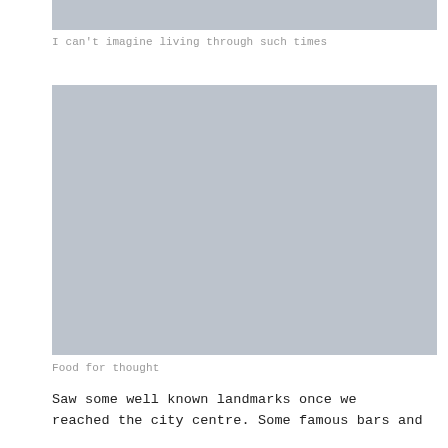[Figure (photo): Gray placeholder image at top of page (cropped)]
I can't imagine living through such times
[Figure (photo): Large gray placeholder image in center of page]
Food for thought
Saw some well known landmarks once we reached the city centre. Some famous bars and